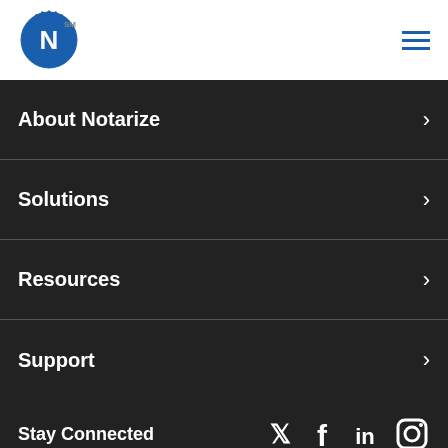[Figure (logo): Notarize logo: blue gear/badge with white N letter and SM superscript]
[Figure (other): Hamburger menu icon with three blue horizontal lines]
About Notarize
Solutions
Resources
Support
Stay Connected
[Figure (other): Social media icons: Twitter, Facebook, LinkedIn, Instagram]